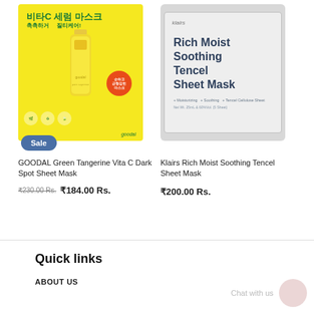[Figure (photo): GOODAL Green Tangerine Vita C Dark Spot Sheet Mask product image on yellow background with Korean text and a blue Sale badge]
[Figure (photo): Klairs Rich Moist Soothing Tencel Sheet Mask product image on grey/silver background]
GOODAL Green Tangerine Vita C Dark Spot Sheet Mask
Klairs Rich Moist Soothing Tencel Sheet Mask
₹230.00 Rs.  ₹184.00 Rs.
₹200.00 Rs.
Quick links
ABOUT US
Chat with us